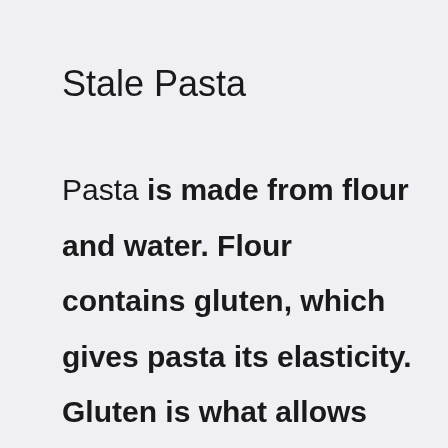Stale Pasta
Pasta is made from flour and water. Flour contains gluten, which gives pasta its elasticity. Gluten is what allows pasta to hold together after being cooked. As long as the